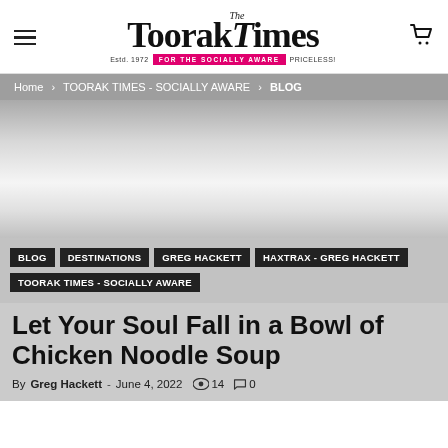The Toorak Times — Estd. 1972 · FOR THE SOCIALLY AWARE · PRICELESS!
Home › TOORAK TIMES - SOCIALLY AWARE › BLOG
[Figure (other): Gray gradient hero background area]
BLOG
DESTINATIONS
GREG HACKETT
HaxTRAX - GREG HACKETT
TOORAK TIMES - SOCIALLY AWARE
Let Your Soul Fall in a Bowl of Chicken Noodle Soup
By Greg Hackett - June 4, 2022  👁 14  💬 0